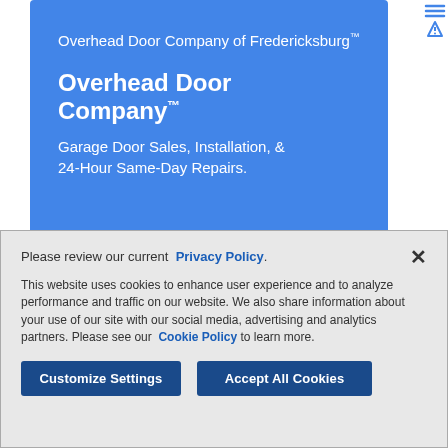[Figure (screenshot): Blue advertisement banner for Overhead Door Company of Fredericksburg with ad icons in top right corner]
Please review our current Privacy Policy.
This website uses cookies to enhance user experience and to analyze performance and traffic on our website. We also share information about your use of our site with our social media, advertising and analytics partners. Please see our Cookie Policy to learn more.